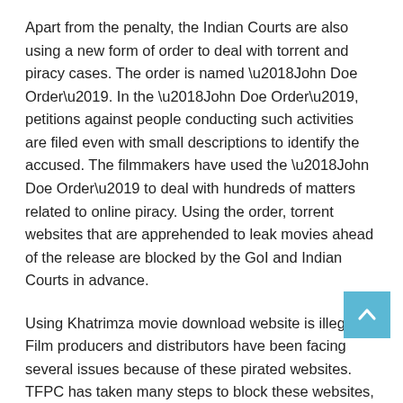Apart from the penalty, the Indian Courts are also using a new form of order to deal with torrent and piracy cases. The order is named ‘John Doe Order’. In the ‘John Doe Order’, petitions against people conducting such activities are filed even with small descriptions to identify the accused. The filmmakers have used the ‘John Doe Order’ to deal with hundreds of matters related to online piracy. Using the order, torrent websites that are apprehended to leak movies ahead of the release are blocked by the GoI and Indian Courts in advance.
Using Khatrimza movie download website is illegal. Film producers and distributors have been facing several issues because of these pirated websites. TFPC has taken many steps to block these websites, but it fails every time. People also using these sites with the help of proxy.
To appreciate the work of the movie creators, we request